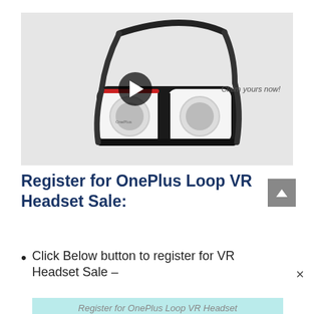[Figure (photo): VR headset (white and black OnePlus Loop VR Headset) on a light grey background with a video play button overlay and text 'Claim yours now!' on the right side.]
Register for OnePlus Loop VR Headset Sale:
Click Below button to register for VR Headset Sale –
Register for OnePlus Loop VR Headset